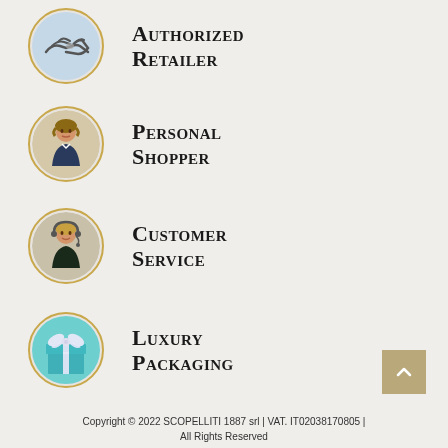Authorized Retailer
Personal Shopper
Customer Service
Luxury Packaging
Copyright © 2022 SCOPELLITI 1887 srl | VAT. IT02038170805 | All Rights Reserved